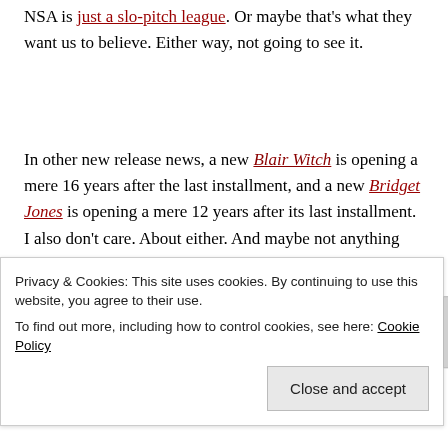NSA is just a slo-pitch league. Or maybe that's what they want us to believe. Either way, not going to see it.
In other new release news, a new Blair Witch is opening a mere 16 years after the last installment, and a new Bridget Jones is opening a mere 12 years after its last installment. I also don't care. About either. And maybe not anything anymore other than the hate I feel for Joseph Gordon-Levitt's Snowden voice. That voice is tearing me apart (Lisa)!
Privacy & Cookies: This site uses cookies. By continuing to use this website, you agree to their use.
To find out more, including how to control cookies, see here: Cookie Policy
Close and accept